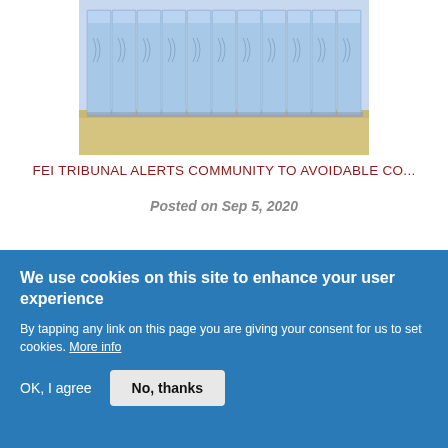[Figure (photo): Row of blue portable toilets lined up on sandy ground, viewed from the front]
FEI TRIBUNAL ALERTS COMMUNITY TO AVOIDABLE CO...
Posted on Sep 5, 2020
[Figure (photo): Partial view of another image, showing green foliage]
We use cookies on this site to enhance your user experience

By tapping any link on this page you are giving your consent for us to set cookies. More info

OK, I agree   No, thanks